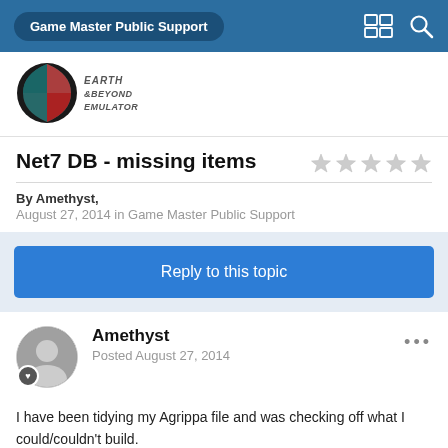Game Master Public Support
[Figure (logo): Earth & Beyond Emulator logo — circular logo with teal/red design and stylized text]
Net7 DB - missing items
By Amethyst,
August 27, 2014 in Game Master Public Support
Reply to this topic
Amethyst
Posted August 27, 2014
I have been tidying my Agrippa file and was checking off what I could/couldn't build.